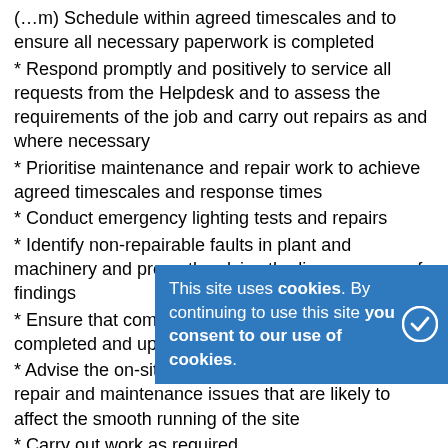(…m) Schedule within agreed timescales and to ensure all necessary paperwork is completed
* Respond promptly and positively to service all requests from the Helpdesk and to assess the requirements of the job and carry out repairs as and where necessary
* Prioritise maintenance and repair work to achieve agreed timescales and response times
* Conduct emergency lighting tests and repairs
* Identify non-repairable faults in plant and machinery and promptly advise the line manager of findings
* Ensure that compliance documentation is always completed and up to date
* Advise the on-site customer (manager) of any repair and maintenance issues that are likely to affect the smooth running of the site
* Carry out work as required
* Complete customer information
* Always comply with company Health and Safety policy
This site uses cookies. By continuing to use this site you consent to our use of cookies.